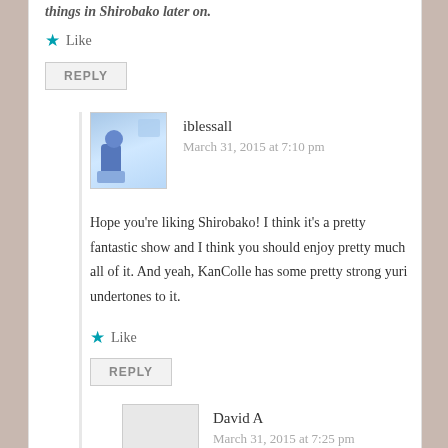things in Shirobako later on.
Like
REPLY
iblessall
March 31, 2015 at 7:10 pm
Hope you're liking Shirobako! I think it's a pretty fantastic show and I think you should enjoy pretty much all of it. And yeah, KanColle has some pretty strong yuri undertones to it.
Like
REPLY
David A
March 31, 2015 at 7:25 pm